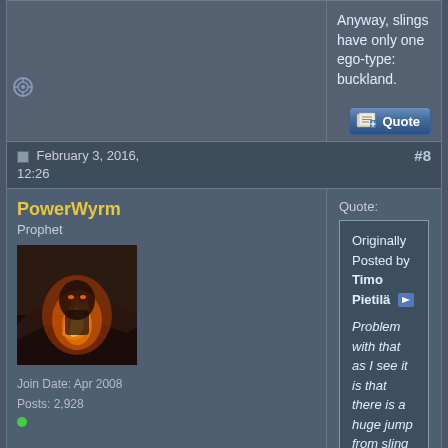Anyway, slings have only one ego-type: buckland.
[Figure (screenshot): Quote button with pencil/paper icon]
February 3, 2016, 12:26  #8
PowerWyrm
Prophet
[Figure (photo): Avatar image showing a fiery fantasy character]
Join Date: Apr 2008
Posts: 2,928
Quote:
Originally Posted by Timo Pietilä
Problem with that as I see it is that there is a huge jump from sling to buckland sling. Normal sling is just crap compared to any other ego launcher, buckland can be better than anything else and at minimum about equal to extra shot longbow (bit worse ammo, +DEX).

Hm. in 4.x extra shot and extra might is restricted to bows it seems. I have vague memory of seeing extra shot H and LXbows in older versions. Has this changed or do I just member something that didn't actually happen?

Anyway, slings have only one ego-type: buckland.